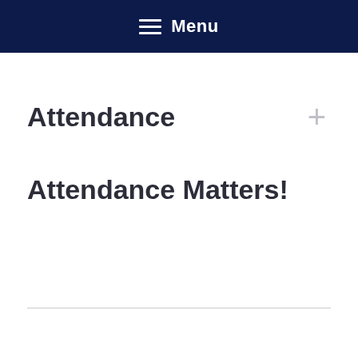Menu
Attendance
Attendance Matters!